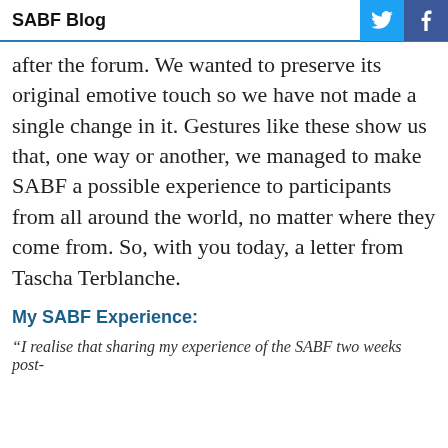SABF Blog
after the forum. We wanted to preserve its original emotive touch so we have not made a single change in it. Gestures like these show us that, one way or another, we managed to make SABF a possible experience to participants from all around the world, no matter where they come from. So, with you today, a letter from Tascha Terblanche.
My SABF Experience:
“I realise that sharing my experience of the SABF two weeks post-